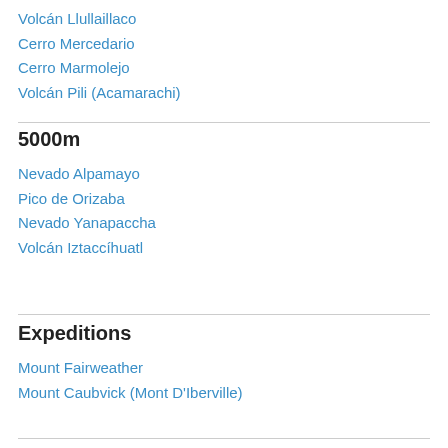Volcán Llullaillaco
Cerro Mercedario
Cerro Marmolejo
Volcán Pili (Acamarachi)
5000m
Nevado Alpamayo
Pico de Orizaba
Nevado Yanapaccha
Volcán Iztaccíhuatl
Expeditions
Mount Fairweather
Mount Caubvick (Mont D'Iberville)